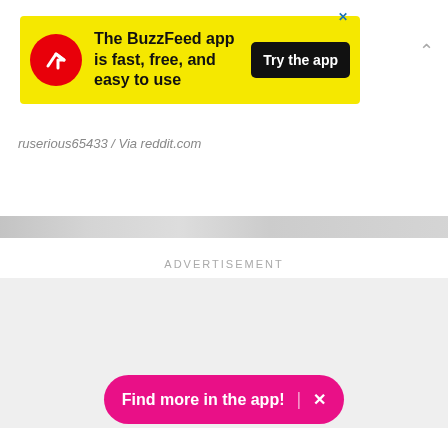[Figure (screenshot): BuzzFeed app advertisement banner with yellow background, red circle logo with white arrow, black 'Try the app' button, and close X button]
[Figure (photo): Blurred image strip / thumbnail strip across page]
ruserious65433 / Via reddit.com
[Figure (infographic): Facebook and Pinterest share icon circles]
ADVERTISEMENT
[Figure (other): Advertisement placeholder area with light grey background]
[Figure (screenshot): Pink 'Find more in the app!' button with X close icon]